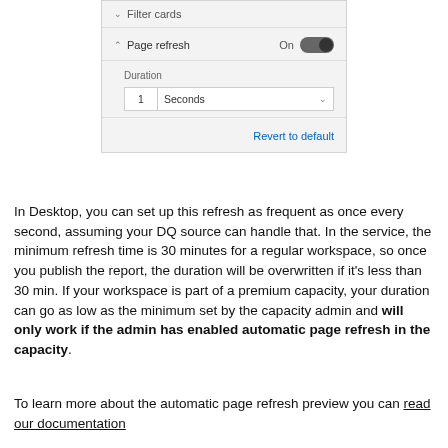[Figure (screenshot): UI panel showing Filter cards (collapsed) and Page refresh (expanded, On) with Duration set to 1 Seconds and a Revert to default link]
In Desktop, you can set up this refresh as frequent as once every second, assuming your DQ source can handle that. In the service, the minimum refresh time is 30 minutes for a regular workspace, so once you publish the report, the duration will be overwritten if it's less than 30 min. If your workspace is part of a premium capacity, your duration can go as low as the minimum set by the capacity admin and will only work if the admin has enabled automatic page refresh in the capacity.
To learn more about the automatic page refresh preview you can read our documentation